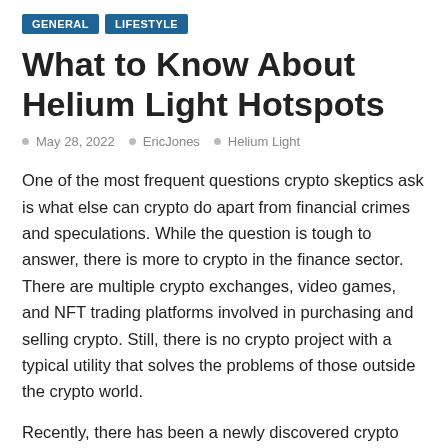GENERAL   LIFESTYLE
What to Know About Helium Light Hotspots
May 28, 2022   EricJones   Helium Light
One of the most frequent questions crypto skeptics ask is what else can crypto do apart from financial crimes and speculations. While the question is tough to answer, there is more to crypto in the finance sector. There are multiple crypto exchanges, video games, and NFT trading platforms involved in purchasing and selling crypto. Still, there is no crypto project with a typical utility that solves the problems of those outside the crypto world.
Recently, there has been a newly discovered crypto project that solves the problem of non-crypto people. It is known as Helium or the people's network. It is